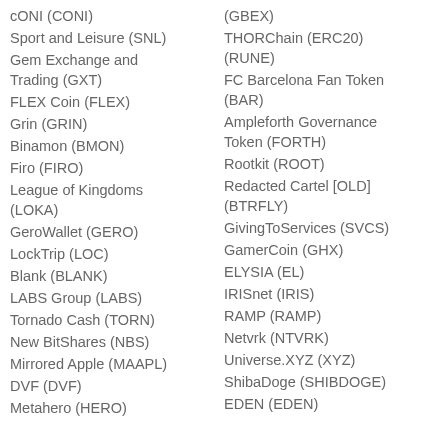cONI (CONI)
Sport and Leisure (SNL)
Gem Exchange and Trading (GXT)
FLEX Coin (FLEX)
Grin (GRIN)
Binamon (BMON)
Firo (FIRO)
League of Kingdoms (LOKA)
GeroWallet (GERO)
LockTrip (LOC)
Blank (BLANK)
LABS Group (LABS)
Tornado Cash (TORN)
New BitShares (NBS)
Mirrored Apple (MAAPL)
DVF (DVF)
Metahero (HERO)
(GBEX)
THORChain (ERC20) (RUNE)
FC Barcelona Fan Token (BAR)
Ampleforth Governance Token (FORTH)
Rootkit (ROOT)
Redacted Cartel [OLD] (BTRFLY)
GivingToServices (SVCS)
GamerCoin (GHX)
ELYSIA (EL)
IRISnet (IRIS)
RAMP (RAMP)
Netvrk (NTVRK)
Universe.XYZ (XYZ)
ShibaDoge (SHIBDOGE)
EDEN (EDEN)